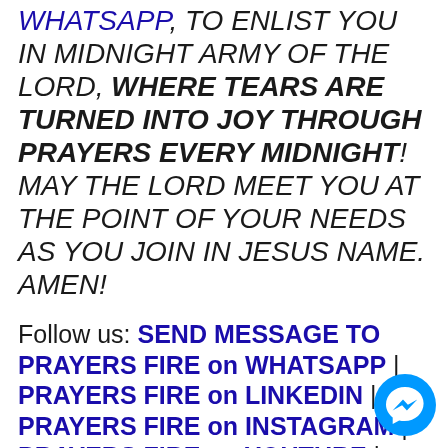WHATSAPP, TO ENLIST YOU IN MIDNIGHT ARMY OF THE LORD, WHERE TEARS ARE TURNED INTO JOY THROUGH PRAYERS EVERY MIDNIGHT! MAY THE LORD MEET YOU AT THE POINT OF YOUR NEEDS AS YOU JOIN IN JESUS NAME. AMEN!
Follow us: SEND MESSAGE TO PRAYERS FIRE on WHATSAPP | PRAYERS FIRE on LINKEDIN | PRAYERS FIRE on INSTAGRAM | PRAYERS FIRE on YOUTUBE |
[Figure (illustration): Blue circular Messenger chat icon button in the bottom right corner]